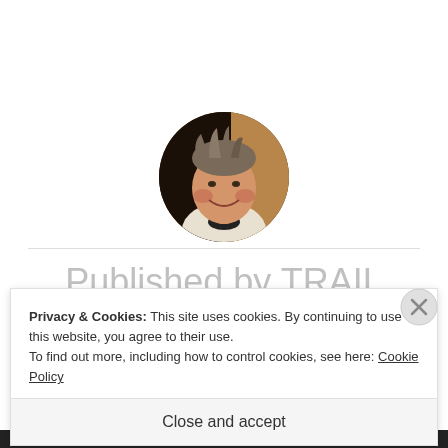[Figure (photo): Circular avatar photo of a smiling person with short hair, wearing a white shirt, against a warm indoor background]
Published by TRAIL Blaise The Baker
Privacy & Cookies: This site uses cookies. By continuing to use this website, you agree to their use.
To find out more, including how to control cookies, see here: Cookie Policy
Close and accept